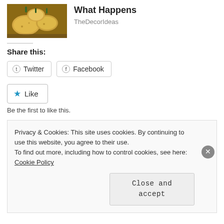[Figure (photo): Photo of potatoes on a wooden surface]
What Happens
TheDecorIdeas
Share this:
Twitter
Facebook
Like
Be the first to like this.
Related
A New Relationship
The Big Picture
Privacy & Cookies: This site uses cookies. By continuing to use this website, you agree to their use.
To find out more, including how to control cookies, see here: Cookie Policy
Close and accept